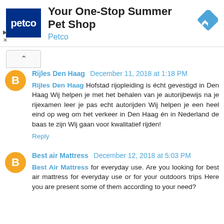[Figure (other): Petco advertisement banner with logo, text 'Your One-Stop Summer Pet Shop' and 'Petco', and a navigation/directions icon]
[Figure (other): Collapse/chevron-up button element]
Rijles Den Haag December 11, 2018 at 1:18 PM
Rijles Den Haag Hofstad rijopleiding is écht gevestigd in Den Haag Wij helpen je met het behalen van je autorijbewijs na je rijexamen leer je pas echt autorijden Wij helpen je een heel eind op weg om het verkeer in Den Haag én in Nederland de baas te zijn Wij gaan voor kwalitatief rijden!
Reply
Best air Mattress December 12, 2018 at 5:03 PM
Best Air Mattress for everyday use. Are you looking for best air mattress for everyday use or for your outdoors trips Here you are present some of them according to your need?